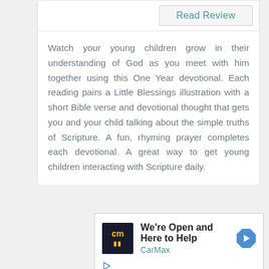Read Review
Watch your young children grow in their understanding of God as you meet with him together using this One Year devotional. Each reading pairs a Little Blessings illustration with a short Bible verse and devotional thought that gets you and your child talking about the simple truths of Scripture. A fun, rhyming prayer completes each devotional. A great way to get young children interacting with Scripture daily.
[Figure (logo): CarMax advertisement with logo showing 'cm' in yellow on dark background, headline 'We're Open and Here to Help', brand name 'CarMax', blue diamond arrow icon, play button and close button controls]